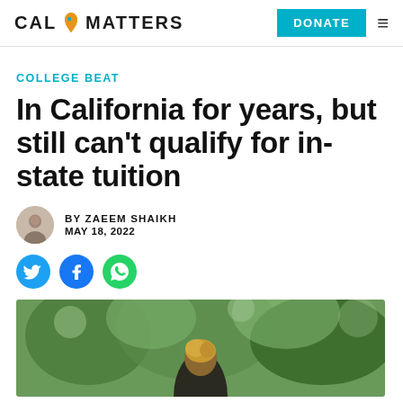[Figure (logo): CalMatters logo with California bear icon, DONATE button and hamburger menu]
COLLEGE BEAT
In California for years, but still can't qualify for in-state tuition
BY ZAEEM SHAIKH
MAY 18, 2022
[Figure (infographic): Twitter, Facebook, and WhatsApp social share buttons]
[Figure (photo): Photo of a person with blonde hair outdoors with green foliage in background]